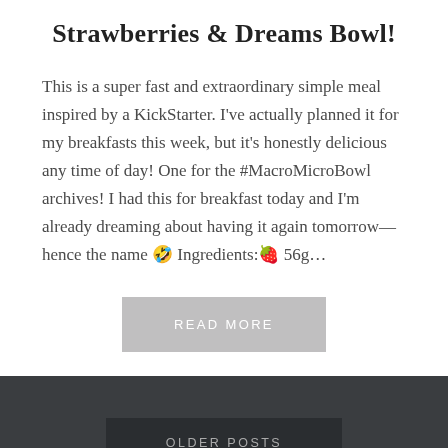Strawberries & Dreams Bowl!
This is a super fast and extraordinary simple meal inspired by a KickStarter. I've actually planned it for my breakfasts this week, but it's honestly delicious any time of day! One for the #MacroMicroBowl archives! I had this for breakfast today and I'm already dreaming about having it again tomorrow—hence the name 🤣 Ingredients:🍓 56g…
READ MORE
OLDER POSTS